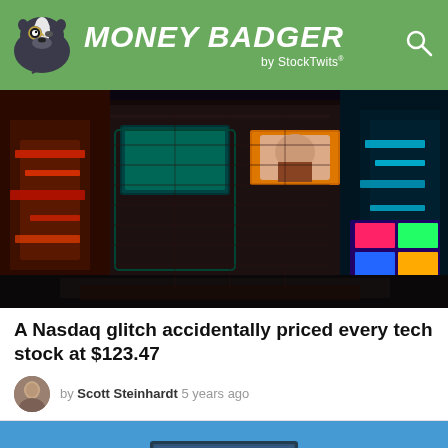MONEY BADGER by StockTwits
[Figure (photo): Aerial night view of a city intersection with neon-lit buildings and advertisements, colorful urban scene]
A Nasdaq glitch accidentally priced every tech stock at $123.47
by Scott Steinhardt  5 years ago
[Figure (photo): Partial view of a second article image with blue background, a laptop partially visible at bottom]